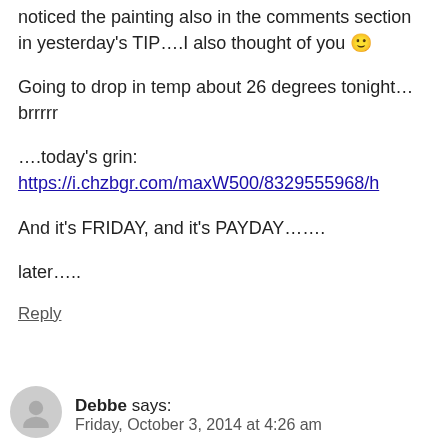noticed the painting also in the comments section in yesterday's TIP….I also thought of you 🙂
Going to drop in temp about 26 degrees tonight…brrrrr
….today's grin:
https://i.chzbgr.com/maxW500/8329555968/h
And it's FRIDAY, and it's PAYDAY…….
later…..
Reply
Debbe says:
Friday, October 3, 2014 at 4:26 am